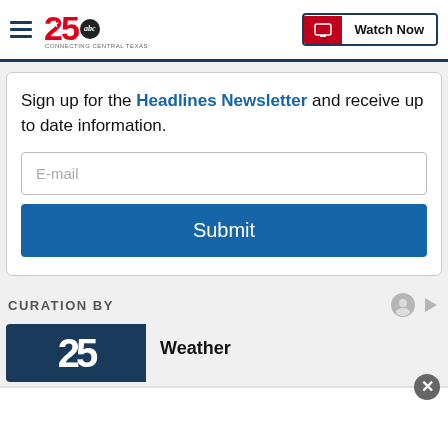[Figure (logo): KXXV 25 ABC News logo — Channel 25 ABC Connecting Central Texas, with hamburger menu icon and Watch Now button]
Sign up for the Headlines Newsletter and receive up to date information.
[Figure (screenshot): E-mail input field placeholder]
[Figure (screenshot): Submit button]
CURATION BY
[Figure (logo): Channel 25 thumbnail with large '25' text in white on dark blue background]
Weather
[Figure (screenshot): Advertisement close button (X)]